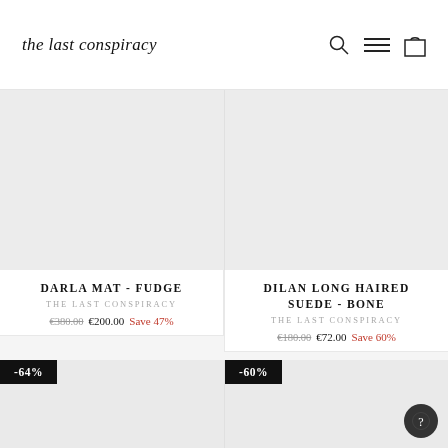the last conspiracy
[Figure (other): Product image placeholder for DARLA MAT - FUDGE shoe]
DARLA MAT - FUDGE
THE LAST CONSPIRACY
€380.00  €200.00  Save 47%
[Figure (other): Product image placeholder for DILAN LONG HAIRED SUEDE - BONE shoe]
DILAN LONG HAIRED SUEDE - BONE
THE LAST CONSPIRACY
€180.00  €72.00  Save 60%
[Figure (other): Product image placeholder for second row left item, badge -64%]
[Figure (other): Product image placeholder for second row right item, badge -60%]